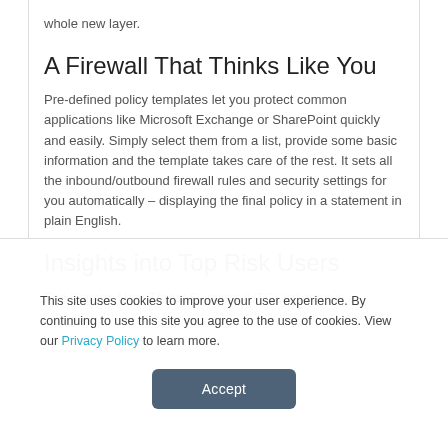whole new layer.
A Firewall That Thinks Like You
Pre-defined policy templates let you protect common applications like Microsoft Exchange or SharePoint quickly and easily. Simply select them from a list, provide some basic information and the template takes care of the rest. It sets all the inbound/outbound firewall rules and security settings for you automatically – displaying the final policy in a statement in plain English.
Insights into Top Risk Users
The Sophos User Threat Quotient (UTQ) indicator is a
This site uses cookies to improve your user experience. By continuing to use this site you agree to the use of cookies. View our Privacy Policy to learn more.
Accept